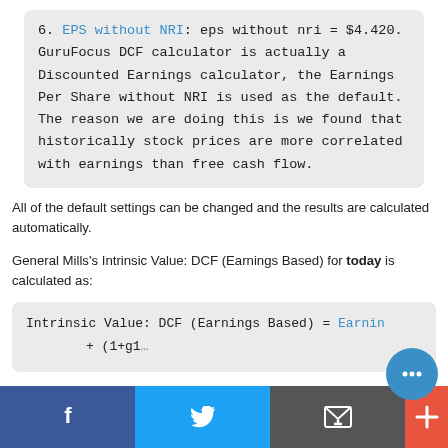6. EPS without NRI: eps without nri = $4.420. GuruFocus DCF calculator is actually a Discounted Earnings calculator, the Earnings Per Share without NRI is used as the default. The reason we are doing this is we found that historically stock prices are more correlated with earnings than free cash flow.
All of the default settings can be changed and the results are calculated automatically.
General Mills's Intrinsic Value: DCF (Earnings Based) for today is calculated as: